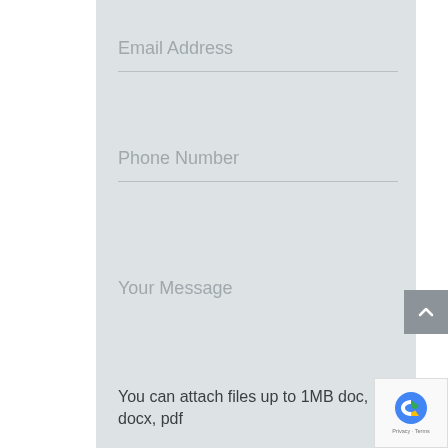Email Address
Phone Number
Your Message
You can attach files up to 1MB doc, docx, pdf